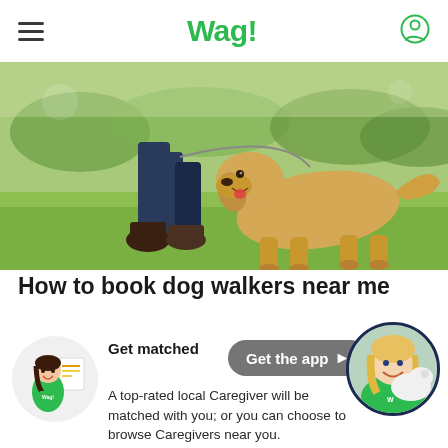Wag!
[Figure (photo): Person walking a golden retriever dog on a grassy field outdoors, trees in background, sunny day. Only the person's legs and boots visible.]
How to book dog walkers near me
[Figure (illustration): Circular illustration of a Wag! caregiver character (woman with dark hair in green Wag! shirt) with a profile/document graphic]
Get matched
[Figure (screenshot): Grey rounded rectangle button labeled 'Get the app' with arrow]
[Figure (photo): Circular photo of a smiling blonde woman in a green Wag! shirt hugging a white dog]
A top-rated local Caregiver will be matched with you; or you can choose to browse Caregivers near you.